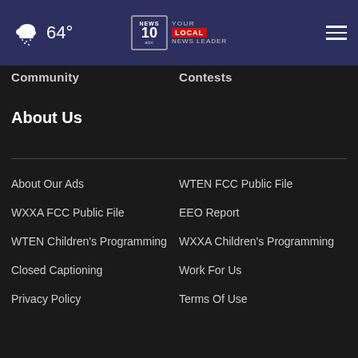NEWS10 YOUR LOCAL NEWS LEADER — 64°
Community
Contests
About Us
About Our Ads
WTEN FCC Public File
WXXA FCC Public File
EEO Report
WTEN Children's Programming
WXXA Children's Programming
Closed Captioning
Work For Us
Privacy Policy
Terms Of Use